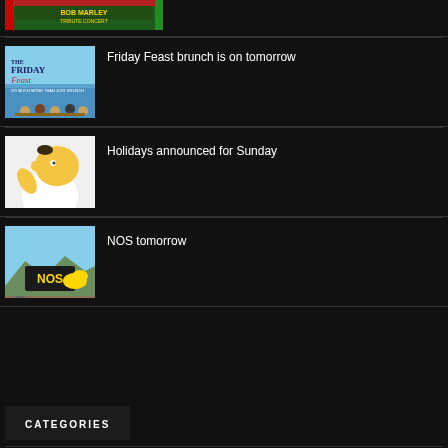[Figure (photo): Bob Marley Tribute Concert promotional image - top cropped item]
[Figure (photo): The Friday Feast brunch promotional image showing people dining by the sea]
Friday Feast brunch is on tomorrow
[Figure (illustration): Homer Simpson cartoon character walking away]
Holidays announced for Sunday
[Figure (photo): NOS event venue outdoor photo with inflatable structures]
NOS tomorrow
CATEGORIES